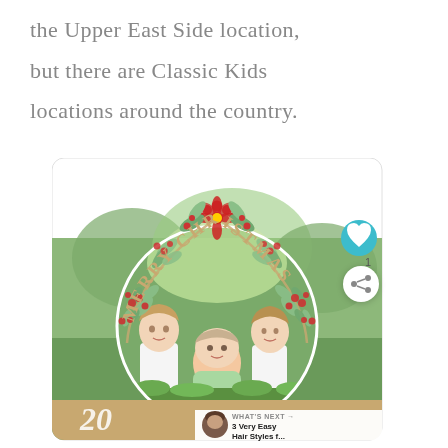the Upper East Side location, but there are Classic Kids locations around the country.
[Figure (photo): A Christmas card design showing a circular photo of three children (two girls and a baby) seated outdoors on grass with a blurred green background. The card features a decorative floral and berry wreath arch in red and green above the photo, with 'MERRY CHRISTMAS' text arranged in an arc. A gold band runs along the bottom with the number '20' in white italic script. A teal heart/like button, a share button, and a 'WHAT'S NEXT' thumbnail panel for '3 Very Easy Hair Styles f...' are overlaid on the right side.]